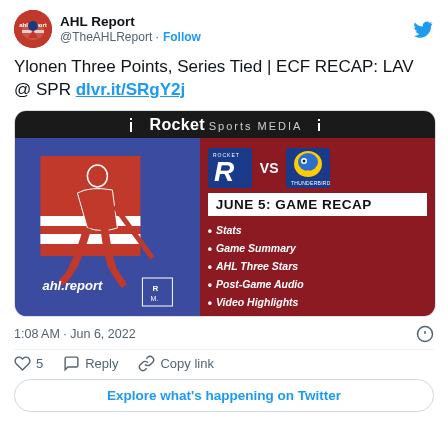AHL Report @TheAHLReport · Follow
Ylonen Three Points, Series Tied | ECF RECAP: LAV @ SPR dlvr.it/SRgY2j
[Figure (screenshot): AHL Report game recap card showing Laval Rocket vs Springfield Thunderbirds, June 5 Game Recap with bullet points: Stats, Game Summary, AHL Three Stars, Post-Game Audio, Video Highlights. Header says 'Rocket Sports MEDIA'.]
1:08 AM · Jun 6, 2022
♡ 5   Reply   Copy link
Explore what's happening on Twitter